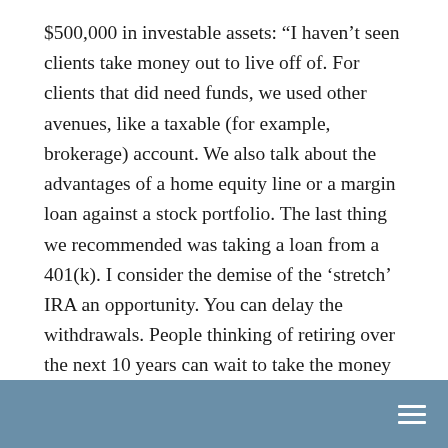$500,000 in investable assets: “I haven’t seen clients take money out to live off of. For clients that did need funds, we used other avenues, like a taxable (for example, brokerage) account. We also talk about the advantages of a home equity line or a margin loan against a stock portfolio. The last thing we recommended was taking a loan from a 401(k). I consider the demise of the ‘stretch’ IRA an opportunity. You can delay the withdrawals. People thinking of retiring over the next 10 years can wait to take the money out. If you do so after you retire but before Social Security starts, it can be a terrific opportunity.”